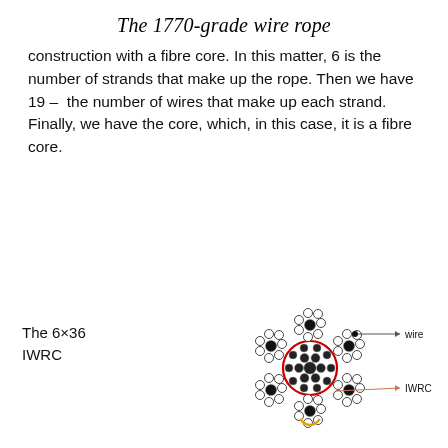The 1770-grade wire rope
construction with a fibre core. In this matter, 6 is the number of strands that make up the rope. Then we have 19 – the number of wires that make up each strand. Finally, we have the core, which, in this case, it is a fibre core.
The 6×36 IWRC
[Figure (engineering-diagram): Cross-sectional diagram of a 6×36 IWRC (Independent Wire Rope Core) wire rope, showing the circular arrangement of wire strands around an IWRC center. Labels point to individual 'wire' and 'IWRC' components with leader lines.]